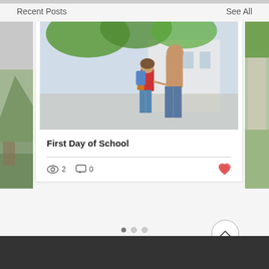Recent Posts    See All
[Figure (photo): Child with backpack holding adult's hand walking toward school building, view from behind, trees overhead]
First Day of School
2 views  0 comments  like button
[Figure (photo): Dark footer bar at bottom of page]